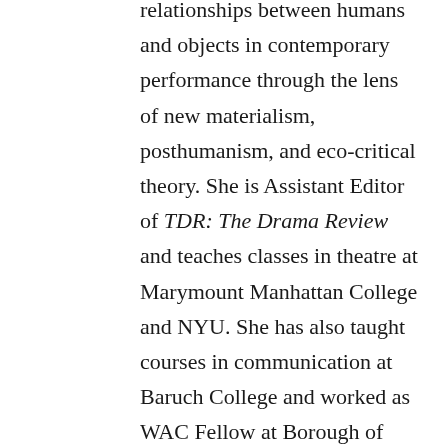relationships between humans and objects in contemporary performance through the lens of new materialism, posthumanism, and eco-critical theory. She is Assistant Editor of TDR: The Drama Review and teaches classes in theatre at Marymount Manhattan College and NYU. She has also taught courses in communication at Baruch College and worked as WAC Fellow at Borough of Manhattan Community